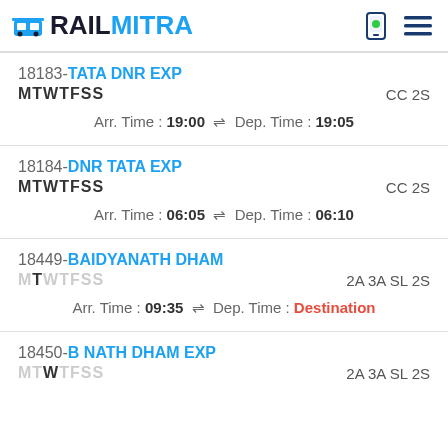RAILMITRA
18183-TATA DNR EXP
MTWTFSS   CC 2S
Arr. Time : 19:00 ⇌ Dep. Time : 19:05
18184-DNR TATA EXP
MTWTFSS   CC 2S
Arr. Time : 06:05 ⇌ Dep. Time : 06:10
18449-BAIDYANATH DHAM
MTWTFSS   2A 3A SL 2S
Arr. Time : 09:35 ⇌ Dep. Time : Destination
18450-B NATH DHAM EXP
MTWTFSS   2A 3A SL 2S